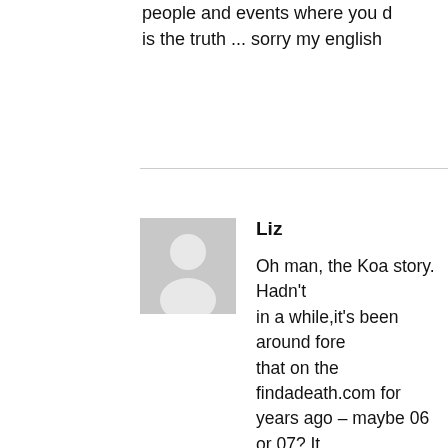people and events where you d is the truth ... sorry my english
[Figure (illustration): Generic grey avatar/profile placeholder image showing a silhouette of a person]
Liz
Oh man, the Koa story. Hadn't in a while,it's been around fore that on the findadeath.com for years ago – maybe 06 or 07? It and posted to several different parts of this story are definitely died in the hospital with her m aunt right beside her on the mo around 7:40 a.m. She was unco she was brought in and never u She died of an accidental overd